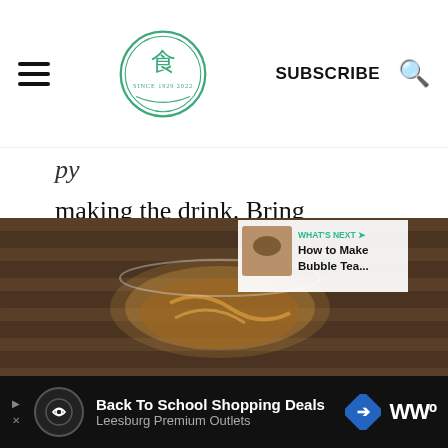SUBSCRIBE
making the drink. Bring the water to a boil and let it cool a little. The required temperature is 90°C or 190°F when the water is not boiling. Rather, it takes about 3 minutes to boil to reach this temperature. Add one teaspoon of tea leaves or tea bag into one cup of water.
[Figure (photo): Tea being poured into a glass cup on a bamboo mat, with a 'WHAT'S NEXT: How to Make Bubble Tea...' overlay in the top right corner.]
Back To School Shopping Deals Leesburg Premium Outlets